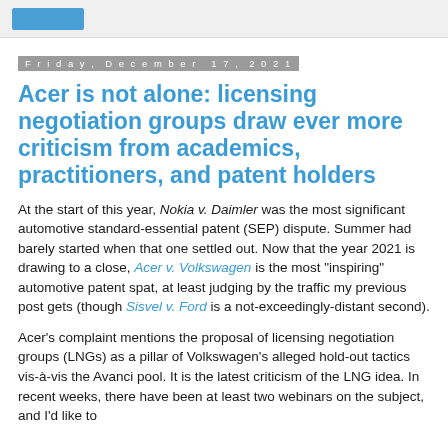Friday, December 17, 2021
Acer is not alone: licensing negotiation groups draw ever more criticism from academics, practitioners, and patent holders
At the start of this year, Nokia v. Daimler was the most significant automotive standard-essential patent (SEP) dispute. Summer had barely started when that one settled out. Now that the year 2021 is drawing to a close, Acer v. Volkswagen is the most "inspiring" automotive patent spat, at least judging by the traffic my previous post gets (though Sisvel v. Ford is a not-exceedingly-distant second).
Acer's complaint mentions the proposal of licensing negotiation groups (LNGs) as a pillar of Volkswagen's alleged hold-out tactics vis-à-vis the Avanci pool. It is the latest criticism of the LNG idea. In recent weeks, there have been at least two webinars on the subject, and I'd like to